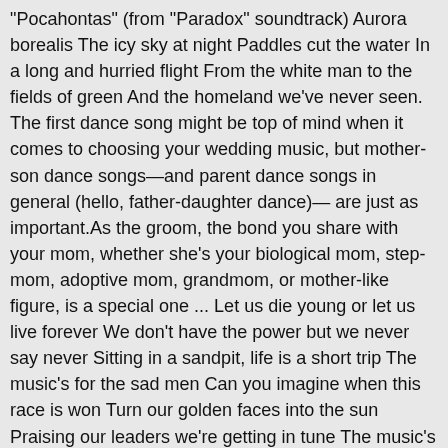"Pocahontas" (from "Paradox" soundtrack) Aurora borealis The icy sky at night Paddles cut the water In a long and hurried flight From the white man to the fields of green And the homeland we've never seen. The first dance song might be top of mind when it comes to choosing your wedding music, but mother-son dance songs—and parent dance songs in general (hello, father-daughter dance)— are just as important.As the groom, the bond you share with your mom, whether she's your biological mom, step-mom, adoptive mom, grandmom, or mother-like figure, is a special one ... Let us die young or let us live forever We don't have the power but we never say never Sitting in a sandpit, life is a short trip The music's for the sad men Can you imagine when this race is won Turn our golden faces into the sun Praising our leaders we're getting in tune The music's played by the madman Forever young, I want to be forever young Neil Young - Heart of Gold Lyrics. "May your hands always be busy" is a reference to the Bible's Proverbs 16:27, "idle hands are the devil's workshop". Browse 36 lyrics and 302 Songs For Children albums. When I was young, me and my